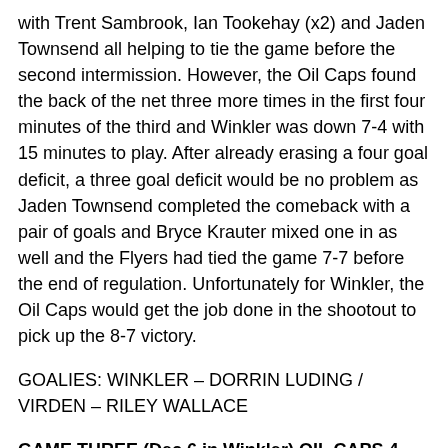with Trent Sambrook, Ian Tookehay (x2) and Jaden Townsend all helping to tie the game before the second intermission. However, the Oil Caps found the back of the net three more times in the first four minutes of the third and Winkler was down 7-4 with 15 minutes to play. After already erasing a four goal deficit, a three goal deficit would be no problem as Jaden Townsend completed the comeback with a pair of goals and Bryce Krauter mixed one in as well and the Flyers had tied the game 7-7 before the end of regulation. Unfortunately for Winkler, the Oil Caps would get the job done in the shootout to pick up the 8-7 victory.
GOALIES: WINKLER – DORRIN LUDING / VIRDEN – RILEY WALLACE
GAME THREE (Dec 6 in Winkler) OIL CAPS 4 FLYERS 3 / SHOTS 42-39 FLYERS / PP 0/4 PK 3/5
After Virden took a 1-0 lead into the first intermission,